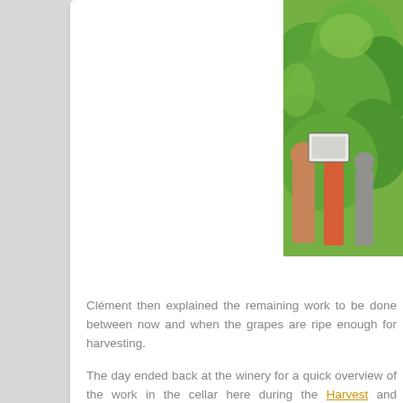[Figure (photo): Photo of people in a vineyard holding a sign, surrounded by green grapevine leaves in bright sunlight]
Clément then explained the remaining work to be done between now and when the grapes are ripe enough for harvesting.
The day ended back at the winery for a quick overview of the work in the cellar here during the Harvest and Vinification Experience Days.
A wine-making gift experience in Burgundy to discover the world of the cellar to make a great organic
6 Comment(s)